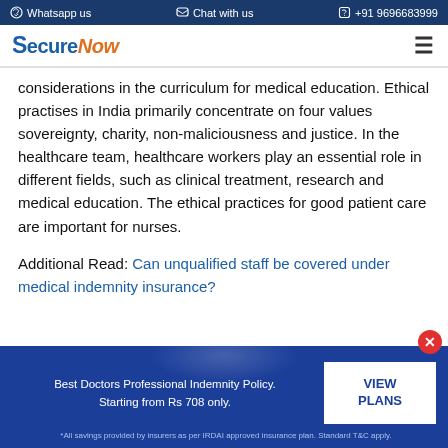Whatsapp us   Chat with us   +91 9696683999
[Figure (logo): SecureNow logo with blue S and blue 'Secure' text and orange 'Now' text]
considerations in the curriculum for medical education. Ethical practises in India primarily concentrate on four values sovereignty, charity, non-maliciousness and justice. In the healthcare team, healthcare workers play an essential role in different fields, such as clinical treatment, research and medical education. The ethical practices for good patient care are important for nurses.
Additional Read: Can unqualified staff be covered under medical indemnity insurance?
Best Doctors Professional Indemnity Policy. Starting from Rs 708 only. VIEW PLANS *All savings provided by insurers as per IRDAI approved insurance plan. Standard T&C apply.